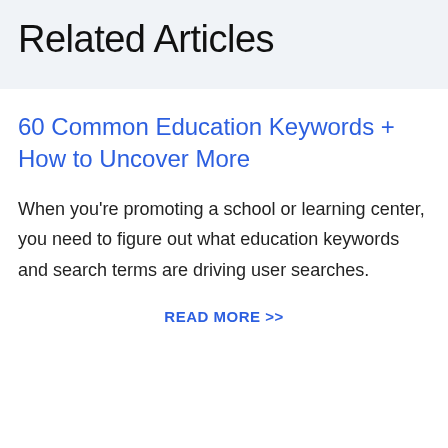Related Articles
60 Common Education Keywords + How to Uncover More
When you're promoting a school or learning center, you need to figure out what education keywords and search terms are driving user searches.
READ MORE >>